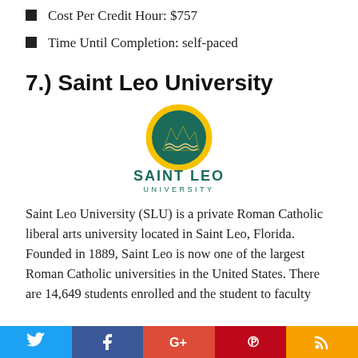Cost Per Credit Hour: $757
Time Until Completion: self-paced
7.) Saint Leo University
[Figure (logo): Saint Leo University logo: circular yellow and green emblem with mountain/lion motif above the text SAINT LEO UNIVERSITY in dark teal/green]
Saint Leo University (SLU) is a private Roman Catholic liberal arts university located in Saint Leo, Florida. Founded in 1889, Saint Leo is now one of the largest Roman Catholic universities in the United States. There are 14,649 students enrolled and the student to faculty